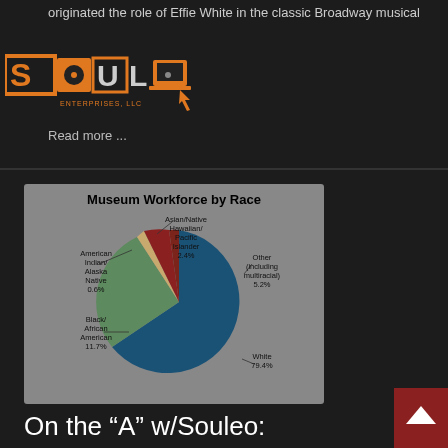originated the role of Effie White in the classic Broadway musical
[Figure (logo): Souleo Enterprises LLC logo with stylized text and turntable/laptop graphics in orange and yellow]
Read more ...
[Figure (pie-chart): Museum Workforce by Race]
On the “A” w/Souleo: